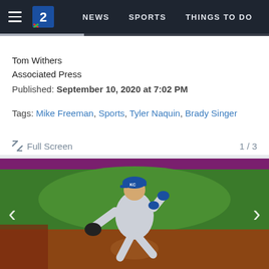NEWS  SPORTS  THINGS TO DO
Tom Withers
Associated Press
Published: September 10, 2020 at 7:02 PM
Tags: Mike Freeman, Sports, Tyler Naquin, Brady Singer
Full Screen  1 / 3
[Figure (photo): Kansas City Royals pitcher Brady Singer in mid-windup on the mound, wearing a gray KC away uniform and blue cap. Baseball stadium field with green grass and red-brown dirt visible in background.]